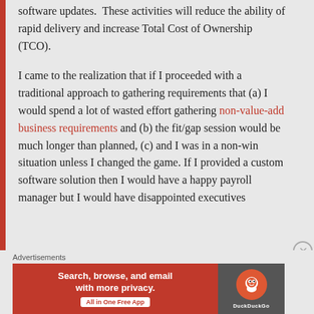software updates.  These activities will reduce the ability of rapid delivery and increase Total Cost of Ownership (TCO).
I came to the realization that if I proceeded with a traditional approach to gathering requirements that (a) I would spend a lot of wasted effort gathering non-value-add business requirements and (b) the fit/gap session would be much longer than planned, (c) and I was in a non-win situation unless I changed the game. If I provided a custom software solution then I would have a happy payroll manager but I would have disappointed executives
[Figure (other): DuckDuckGo advertisement banner: orange/red background with text 'Search, browse, and email with more privacy. All in One Free App' and DuckDuckGo logo on dark grey background]